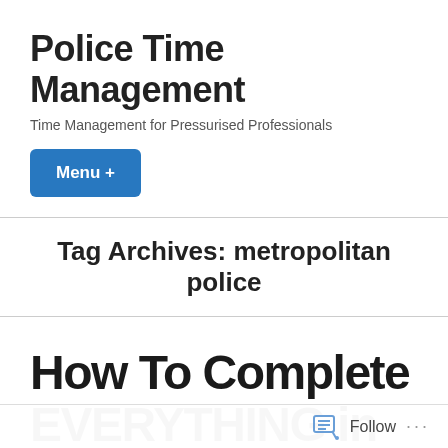Police Time Management
Time Management for Pressurised Professionals
Menu +
Tag Archives: metropolitan police
How To Complete EVERYTHING in Two Minutes
Follow ...